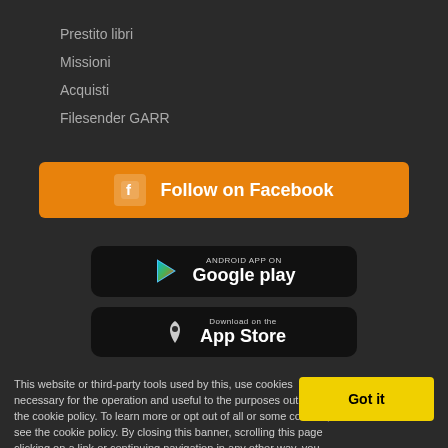Prestito libri
Missioni
Acquisti
Filesender GARR
[Figure (other): Follow on Facebook orange button with Facebook icon]
[Figure (other): Google Play app store badge - Android App on Google play]
[Figure (other): Apple App Store download badge - Download on the App Store]
This website or third-party tools used by this, use cookies necessary for the operation and useful to the purposes outlined in the cookie policy. To learn more or opt out of all or some cookies, see the cookie policy. By closing this banner, scrolling this page clicking on a link or continuing navigation in any other way, you consent the use of cookies. Information